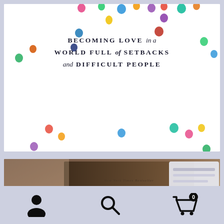[Figure (illustration): Book cover showing colorful confetti dots on white background with the title 'BECOMING LOVE in a WORLD FULL of SETBACKS and DIFFICULT PEOPLE']
BECOMING LOVE in a WORLD FULL of SETBACKS and DIFFICULT PEOPLE
[Figure (photo): Photo of a physical copy of a book by Bob Goff, New York Times Bestseller, Bestselling Author of Love Does, held up in front of a computer screen]